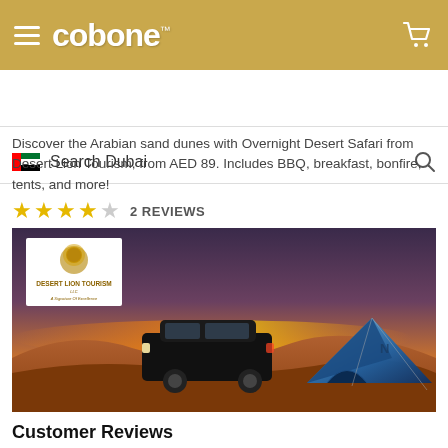cobone™
Search Dubai
Discover the Arabian sand dunes with Overnight Desert Safari from Desert Lion Tourism, from AED 89. Includes BBQ, breakfast, bonfire, tents, and more!
★★★★☆  2 REVIEWS
[Figure (photo): Desert night scene with a black SUV and a blue dome tent on sand dunes, with a sunset/dusk sky. Desert Lion Tourism LLC logo overlay in top-left corner.]
Customer Reviews